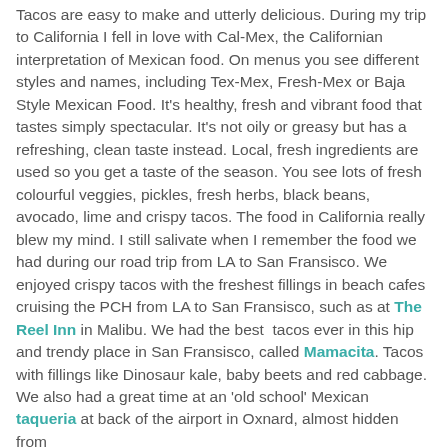Tacos are easy to make and utterly delicious. During my trip to California I fell in love with Cal-Mex, the Californian interpretation of Mexican food. On menus you see different styles and names, including Tex-Mex, Fresh-Mex or Baja Style Mexican Food. It's healthy, fresh and vibrant food that tastes simply spectacular. It's not oily or greasy but has a refreshing, clean taste instead. Local, fresh ingredients are used so you get a taste of the season. You see lots of fresh colourful veggies, pickles, fresh herbs, black beans, avocado, lime and crispy tacos. The food in California really blew my mind. I still salivate when I remember the food we had during our road trip from LA to San Fransisco. We enjoyed crispy tacos with the freshest fillings in beach cafes cruising the PCH from LA to San Fransisco, such as at The Reel Inn in Malibu. We had the best tacos ever in this hip and trendy place in San Fransisco, called Mamacita. Tacos with fillings like Dinosaur kale, baby beets and red cabbage. We also had a great time at an 'old school' Mexican taqueria at back of the airport in Oxnard, almost hidden from